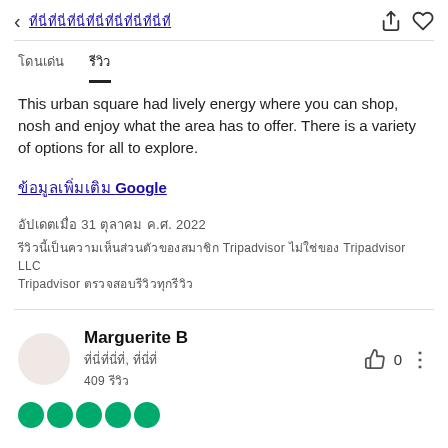< [Thai text] [share icon] [heart icon]
ข้อมูล	รีวิว (tab row)
This urban square had lively energy where you can shop, nosh and enjoy what the area has to offer. There is a variety of options for all to explore.
ข้อมูลเพิ่มเติม Google
อัปเดตเมื่อ 31 ตุลาคม ค.ศ. 2022
รีวิวนี้เป็นความเห็นส่วนตัวของสมาชิก Tripadvisor ไม่ใช่ของ Tripadvisor LLC Tripadvisor ตรวจสอบรีวิวทุกรีวิว
Marguerite B
xxxxxxxxxx, xxxxxxx
409 รีวิว
[Figure (other): Five green filled circles representing a 5-star rating]